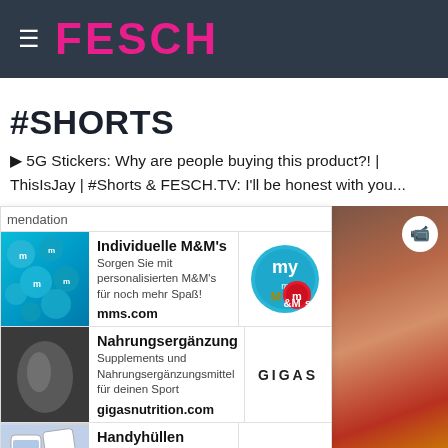FESCH
#SHORTS
🎯 5G Stickers: Why are people buying this product?! | ThisIsJay | #Shorts & FESCH.TV: I'll be honest with you...
mendation
| Image | Ad Title / Description | Logo |
| --- | --- | --- |
| [M&M image] | Individuelle M&M's
Sorgen Sie mit personalisierten M&M's für noch mehr Spaß!
mms.com | [my M&M's logo] |
| [Gigas image] | Nahrungsergänzung
Supplements und Nahrungsergänzungsmittel für deinen Sport
gigasnutrition.com | [GIGAS logo] |
| [Design image] | Handyhüllen
Deine Hülle für Smartphone, Tablet und Co. Jetzt selbst gestalten!
deindesign.de | [DeinDesign logo] |
[Figure (photo): Video thumbnail showing a person in red clothing, blurred background]